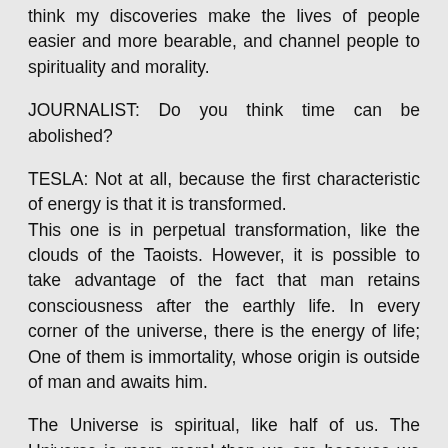think my discoveries make the lives of people easier and more bearable, and channel people to spirituality and morality.
JOURNALIST: Do you think time can be abolished?
TESLA: Not at all, because the first characteristic of energy is that it is transformed.
This one is in perpetual transformation, like the clouds of the Taoists. However, it is possible to take advantage of the fact that man retains consciousness after the earthly life. In every corner of the universe, there is the energy of life; One of them is immortality, whose origin is outside of man and awaits him.
The Universe is spiritual, like half of us. The Universe is more moral than we are because we do not know its nature and how to harmonize our life with it. I am a scientist, science is perhaps the most convenient way to find the answer to the question that always persecutes me and...  (Nikola Tesla)